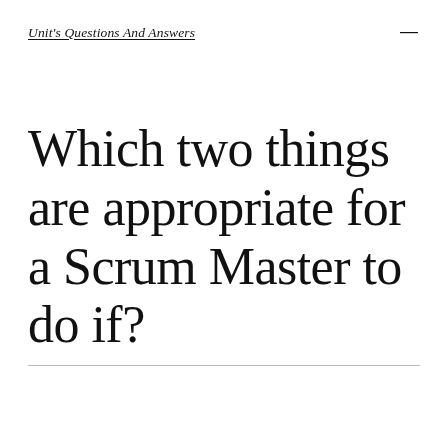Unit's Questions And Answers
Which two things are appropriate for a Scrum Master to do if?